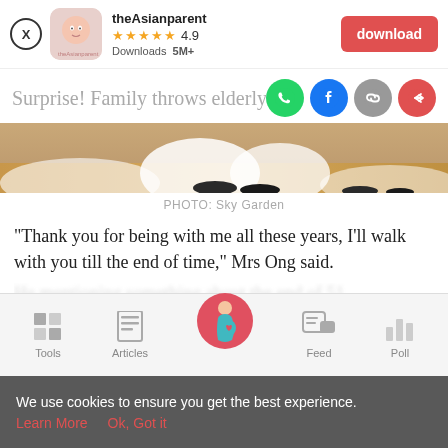[Figure (screenshot): theAsianparent app banner with close button, app icon, name, 4.9 star rating, 5M+ downloads, and red download button]
Surprise! Family throws elderly coup...
[Figure (photo): Photo of feet and lower legs of people on a wooden floor, dressed in formal/wedding attire]
PHOTO: Sky Garden
“Thank you for being with me all these years, I’ll walk with you till the end of time,” Mrs Ong said.
[Figure (screenshot): Mobile app bottom navigation bar with Tools, Articles, center pregnancy icon, Feed, and Poll tabs]
We use cookies to ensure you get the best experience.
Learn More   Ok, Got it